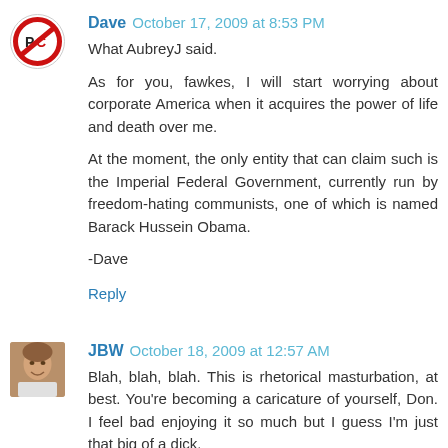[Figure (illustration): Red circle with slash 'no PC' logo avatar for user Dave]
Dave October 17, 2009 at 8:53 PM
What AubreyJ said.

As for you, fawkes, I will start worrying about corporate America when it acquires the power of life and death over me.

At the moment, the only entity that can claim such is the Imperial Federal Government, currently run by freedom-hating communists, one of which is named Barack Hussein Obama.

-Dave
Reply
[Figure (photo): Photo avatar of JBW, a man smiling]
JBW October 18, 2009 at 12:57 AM
Blah, blah, blah. This is rhetorical masturbation, at best. You're becoming a caricature of yourself, Don. I feel bad enjoying it so much but I guess I'm just that big of a dick.